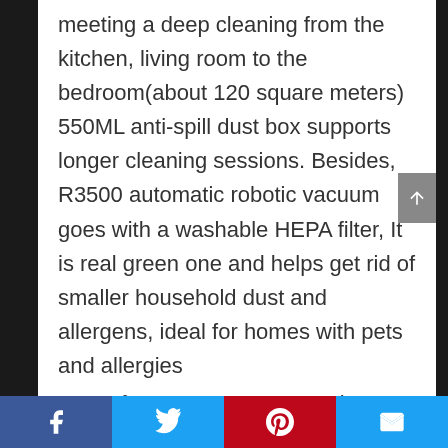meeting a deep cleaning from the kitchen, living room to the bedroom(about 120 square meters) 550ML anti-spill dust box supports longer cleaning sessions. Besides, R3500 automatic robotic vacuum goes with a washable HEPA filter, It is real green one and helps get rid of smaller household dust and allergens, ideal for homes with pets and allergies
360°Smart Sensor Protection & Anti-Drop Technology: Our self cleaning robotic vacuum is smart to clean every corner of the house
Facebook | Twitter | Pinterest | Email